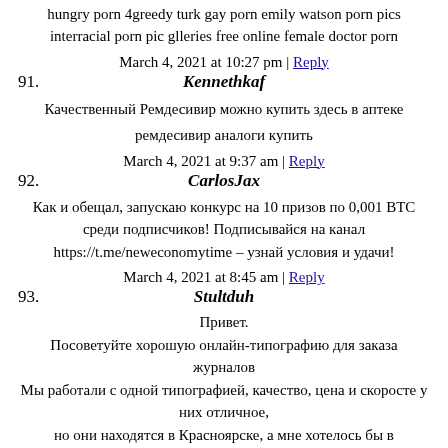hungry porn 4greedy turk gay porn emily watson porn pics interracial porn pic glleries free online female doctor porn
March 4, 2021 at 10:27 pm | Reply
91. Kennethkaf
Качественный Ремдесивир можно купить здесь в аптеке
ремдесивир аналоги купить
March 4, 2021 at 9:37 am | Reply
92. CarlosJax
Как и обещал, запускаю конкурс на 10 призов по 0,001 ВТС среди подписчиков! Подписывайся на канал https://t.me/neweconomytime – узнай условия и удачи!
March 4, 2021 at 8:45 am | Reply
93. Stultduh
Привет.
Посоветуйте хорошую онлайн-типографию для заказа журналов
Мы работали с одной типографией, качество, цена и скоросте у них отличное,
но они находятся в Красноярске, а мне хотелось бы в